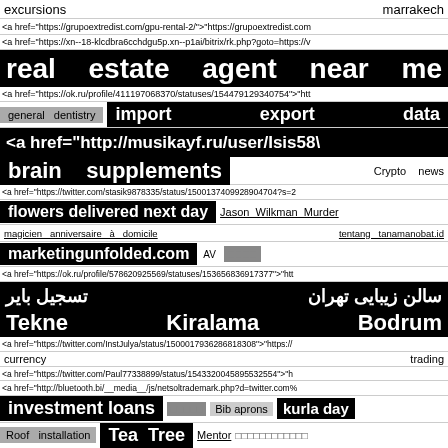excursions    marrakech
<a href="https://grupoextredist.com/gpu-rental-2/">"https://grupoextredist.com
<a href="https://xn--18-klcdbra6cchdgu5p.xn--p1ai/bitrix/rk.php?goto=https://v
real   estate   agent   near   me
<a href="https://ok.ru/profile/411197068370/statuses/154479129340754">"htt
general   dentistry   import   export   data
<a href="http://musikayf.ru/user/Isis58\
brain   supplements   Crypto   news
<a href="https://twitter.com/stasik9878335/status/1500137409928904704?s=2
flowers delivered next day   Jason Wilkman Murder
magicien   anniversaire   à   domicile   tentang   tanamanobat.id
marketingunfolded.com   AV   □□□□
<a href="https://ok.ru/profile/578620925569/statuses/153656836917377">"htt
سالن زیبایی تهران  تسجیل بایر
Tekne   Kiralama   Bodrum
<a href="https://twitter.com/InstJulya/status/1500017936286818308">"https://
currency   trading
<a href="https://twitter.com/Paul77338899/status/1543320045895532554">"h
<a href="http://bluetooth.bi/__media__/js/netsoltrademark.php?d=twitter.com%
investment loans   □□□□□   Bib aprons   kurla day
Roof   installation   Tea   Tree   Mentor   □□□□□□□□□□□□